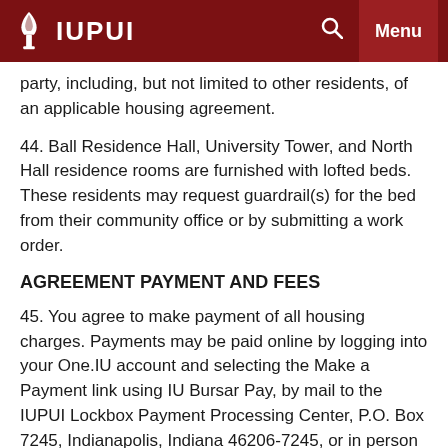IUPUI
party, including, but not limited to other residents, of an applicable housing agreement.
44. Ball Residence Hall, University Tower, and North Hall residence rooms are furnished with lofted beds. These residents may request guardrail(s) for the bed from their community office or by submitting a work order.
AGREEMENT PAYMENT AND FEES
45. You agree to make payment of all housing charges. Payments may be paid online by logging into your One.IU account and selecting the Make a Payment link using IU Bursar Pay, by mail to the IUPUI Lockbox Payment Processing Center, P.O. Box 7245, Indianapolis, Indiana 46206-7245, or in person at the Campus Center, Suite